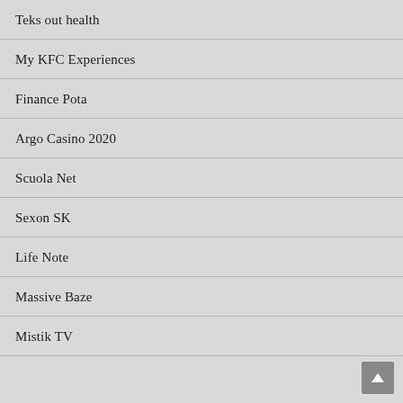Teks out health
My KFC Experiences
Finance Pota
Argo Casino 2020
Scuola Net
Sexon SK
Life Note
Massive Baze
Mistik TV